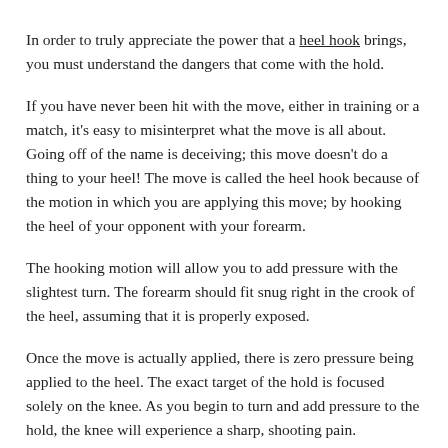In order to truly appreciate the power that a heel hook brings, you must understand the dangers that come with the hold.
If you have never been hit with the move, either in training or a match, it's easy to misinterpret what the move is all about. Going off of the name is deceiving; this move doesn't do a thing to your heel! The move is called the heel hook because of the motion in which you are applying this move; by hooking the heel of your opponent with your forearm.
The hooking motion will allow you to add pressure with the slightest turn. The forearm should fit snug right in the crook of the heel, assuming that it is properly exposed.
Once the move is actually applied, there is zero pressure being applied to the heel. The exact target of the hold is focused solely on the knee. As you begin to turn and add pressure to the hold, the knee will experience a sharp, shooting pain.